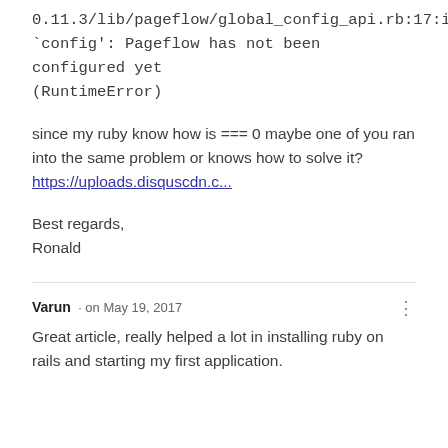0.11.3/lib/pageflow/global_config_api.rb:17:in `config': Pageflow has not been configured yet (RuntimeError)
since my ruby know how is === 0 maybe one of you ran into the same problem or knows how to solve it? https://uploads.disquscdn.c...
Best regards,
Ronald
Varun · on May 19, 2017
Great article, really helped a lot in installing ruby on rails and starting my first application.